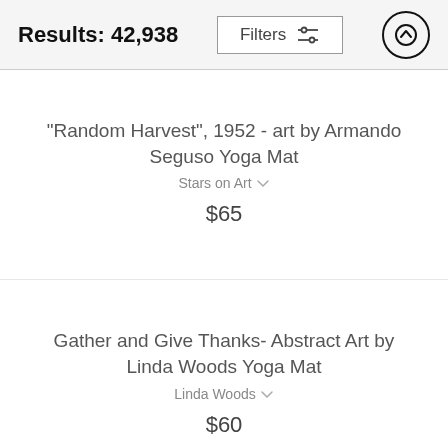Results: 42,938
"Random Harvest", 1952 - art by Armando Seguso Yoga Mat
Stars on Art
$65
Gather and Give Thanks- Abstract Art by Linda Woods Yoga Mat
Linda Woods
$60